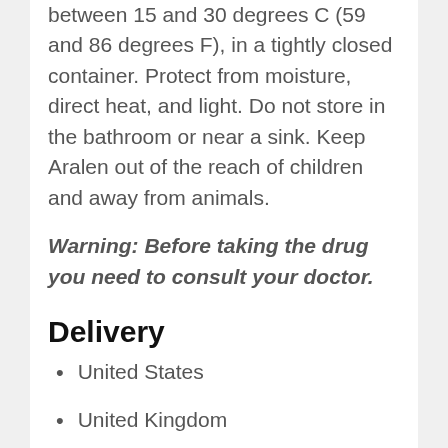between 15 and 30 degrees C (59 and 86 degrees F), in a tightly closed container. Protect from moisture, direct heat, and light. Do not store in the bathroom or near a sink. Keep Aralen out of the reach of children and away from animals.
Warning: Before taking the drug you need to consult your doctor.
Delivery
United States
United Kingdom
France
Netherlands
Canada